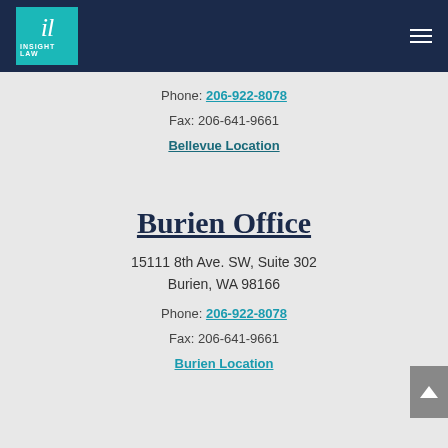Insight Law — navigation header
Phone: 206-922-8078
Fax: 206-641-9661
Bellevue Location
Burien Office
15111 8th Ave. SW, Suite 302
Burien, WA 98166
Phone: 206-922-8078
Fax: 206-641-9661
Burien Location